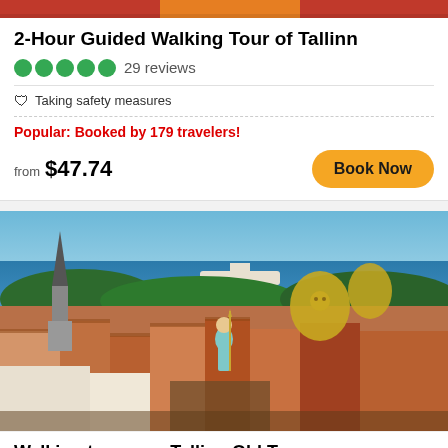[Figure (photo): Partial top strip showing colorful tour images]
2-Hour Guided Walking Tour of Tallinn
●●●●● 29 reviews
🛡 Taking safety measures
Popular: Booked by 179 travelers!
from $47.74
Book Now
[Figure (photo): Aerial view of Tallinn Old Town showing red rooftops, church spire, harbour, sea in background, and decorative statue in foreground]
Walking tour over Tallinn Old Town